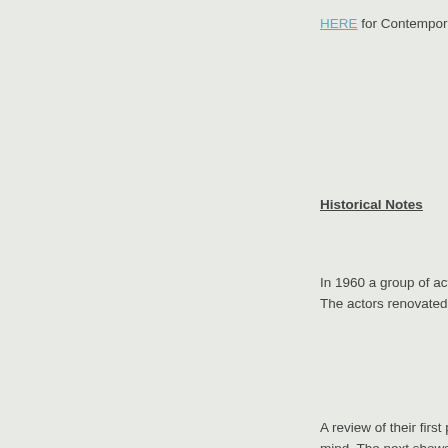HERE for Contemporary
Historical Notes
In 1960 a group of actors... The actors renovated th...
A review of their first pr... mind. The next shows, '... musical written by Jess... Described as a robust s... Town" played for more t...
One of the Cameo's big... former contract starlet a... Hungerford Jr., and recl... starring at the time in th...
In October 1963 the Ca... writing for the stage." L...